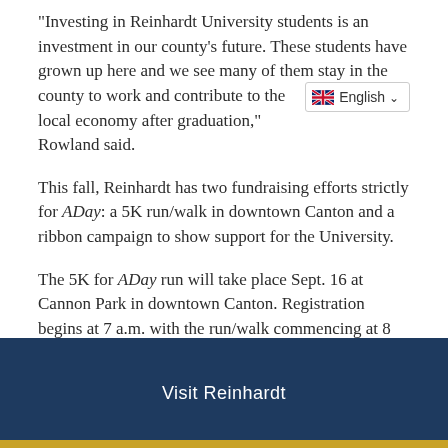"Investing in Reinhardt University students is an investment in our county's future. These students have grown up here and we see many of them stay in the county to work and contribute to the local economy after graduation," Rowland said.
This fall, Reinhardt has two fundraising efforts strictly for ADay: a 5K run/walk in downtown Canton and a ribbon campaign to show support for the University.
The 5K for ADay run will take place Sept. 16 at Cannon Park in downtown Canton. Registration begins at 7 a.m. with the run/walk commencing at 8 a.m. For more information or to register, visit ADay5K.Reinhardt.edu.
This year's presenting sponsor is Northside Hospital-Cherokee. Gold sponsors are Bank of North Georgia and Family Life Publications. Silver sponsors are United Community Bank and South State Bank. Bronze sponsors are North Georgia CPA Services, PC, Credit
Visit Reinhardt